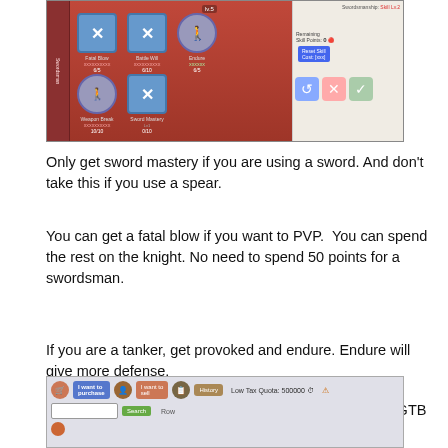[Figure (screenshot): Game screenshot showing a skill tree interface with a red/brown background. Skills including Fatal Blow, Battle Will, Endure are shown as blue icons with X marks. A right panel shows remaining skill points and reset button. Left sidebar shows 'Swordsman' text vertically.]
Only get sword mastery if you are using a sword. And don't take this if you use a spear.
You can get a fatal blow if you want to PVP.  You can spend the rest on the knight. No need to spend 50 points for a swordsman.
If you are a tanker, get provoked and endure. Endure will give more defense.
For equipment, you can use white equipment from the GTB instance.
[Figure (screenshot): Game marketplace/shop interface showing purchase, sell, history buttons and a search bar with 'Low Tax Quota: 500000' label. An Enter Item search field is visible.]